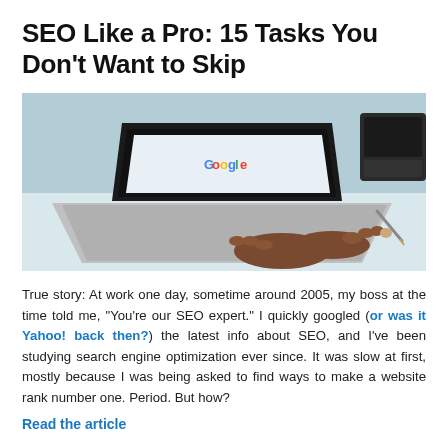SEO Like a Pro: 15 Tasks You Don't Want to Skip
[Figure (photo): Person typing on an HP laptop with Google homepage visible on screen, telephone in background, on a light blue/white desk surface.]
True story: At work one day, sometime around 2005, my boss at the time told me, “You’re our SEO expert.” I quickly googled (or was it Yahoo! back then?) the latest info about SEO, and I’ve been studying search engine optimization ever since. It was slow at first, mostly because I was being asked to find ways to make a website rank number one. Period. But how?
Read the article